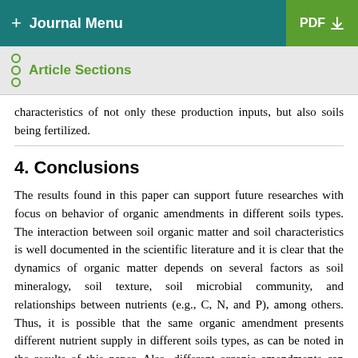+ Journal Menu | PDF ⬇
Article Sections
characteristics of not only these production inputs, but also soils being fertilized.
4. Conclusions
The results found in this paper can support future researches with focus on behavior of organic amendments in different soils types. The interaction between soil organic matter and soil characteristics is well documented in the scientific literature and it is clear that the dynamics of organic matter depends on several factors as soil mineralogy, soil texture, soil microbial community, and relationships between nutrients (e.g., C, N, and P), among others. Thus, it is possible that the same organic amendment presents different nutrient supply in different soils types, as can be noted in the results of this paper. Also, different organic amendments can present different behavior in the same soil. In our opinion, to allow better results in organic agriculture, future